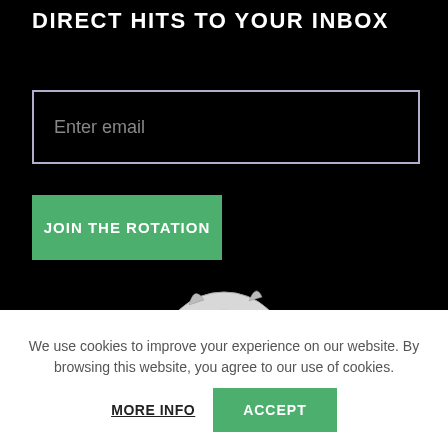DIRECT HITS TO YOUR INBOX
Enter email
JOIN THE ROTATION
[Figure (illustration): Black and white detailed illustration of an owl with bright yellow eyes, partially visible, peeking upward from the bottom of the dark background section.]
We use cookies to improve your experience on our website. By browsing this website, you agree to our use of cookies.
MORE INFO
ACCEPT